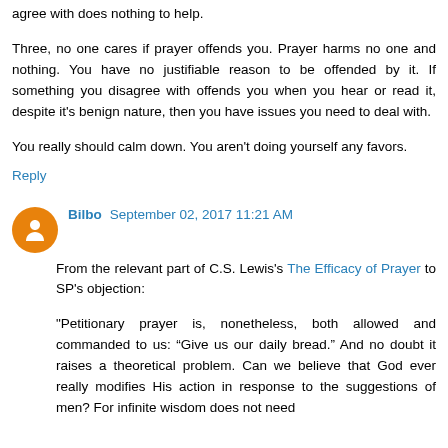agree with does nothing to help.
Three, no one cares if prayer offends you. Prayer harms no one and nothing. You have no justifiable reason to be offended by it. If something you disagree with offends you when you hear or read it, despite it's benign nature, then you have issues you need to deal with.
You really should calm down. You aren't doing yourself any favors.
Reply
Bilbo September 02, 2017 11:21 AM
From the relevant part of C.S. Lewis's The Efficacy of Prayer to SP's objection:
"Petitionary prayer is, nonetheless, both allowed and commanded to us: “Give us our daily bread.” And no doubt it raises a theoretical problem. Can we believe that God ever really modifies His action in response to the suggestions of men? For infinite wisdom does not need